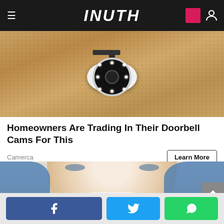INUTH
[Figure (photo): A security/doorbell camera mounted on a wall with sandy/concrete texture, showing circular LED ring lights]
Homeowners Are Trading In Their Doorbell Cams For This
Camerca
Learn More
[Figure (photo): A smiling young woman with blue eyes and brown hair at a dental appointment, with a dentist in blue gloves working nearby]
Social share buttons: Facebook, Twitter, WhatsApp